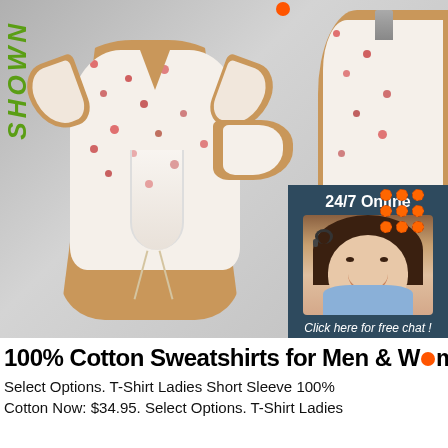[Figure (photo): Product photo showing two dressmaker mannequins wearing a white floral short-sleeve crop top with red flower print and ruched front detail. Left side shows a green italic logo text 'SHOWN' rotated vertically. Right side shows a second mannequin view. Bottom-right overlay shows a 24/7 Online customer service panel with agent photo and orange QUOTATION button.]
100% Cotton Sweatshirts for Men & Women
Select Options. T-Shirt Ladies Short Sleeve 100% Cotton Now: $34.95. Select Options. T-Shirt Ladies